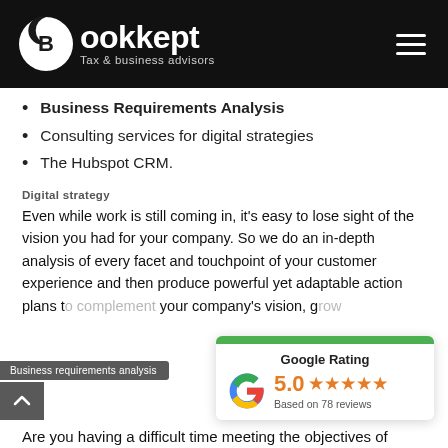Bookkept Tax & business advisors
Business Requirements Analysis
Consulting services for digital strategies
The Hubspot CRM.
Digital strategy
Even while work is still coming in, it's easy to lose sight of the vision you had for your company. So we do an in-depth analysis of every facet and touchpoint of your customer experience and then produce powerful yet adaptable action plans t… ent your company's vision, g…
[Figure (other): Google Rating card showing 5.0 stars based on 78 reviews]
Business requirements analysis
Are you having a difficult time meeting the objectives of